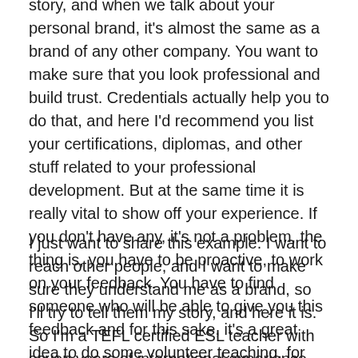story, and when we talk about your personal brand, it's almost the same as a brand of any other company. You want to make sure that you look professional and build trust. Credentials actually help you to do that, and here I'd recommend you list your certifications, diplomas, and other stuff related to your professional development. But at the same time it is really vital to show off your experience. If you don't have any, it's not a problem, the thing is, you have to be proactive, to work on your feedback. You have to find someone who will be able to give you this feedback and for this sake, it's a great idea to do some volunteer teaching, for example.
I just want to share this example. I want to reach other people, and I want to make sure they understand me as a brand, so I'll try to tell them my story, and here it is. So I'm a TEFL certified ESL teacher with seven years of international experience. I'm passionate about foreign languages, cultures, and travel. So in this part I try to include my credentials, my story like how I began doing